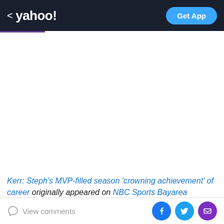< yahoo! | Get App
Kerr: Steph's MVP-filled season 'crowning achievement' of career originally appeared on NBC Sports Bayarea
There aren't many words that describe what Steph Curry accomplished this season.
View comments | Facebook | Twitter | Email